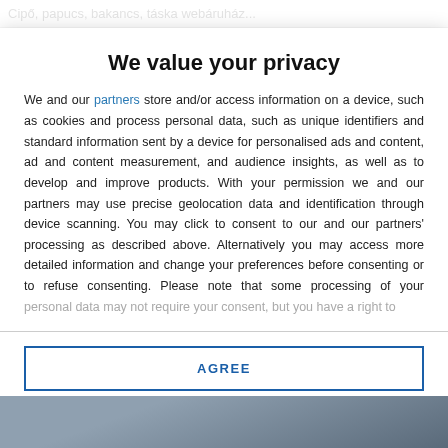Cipő, papucs, bakancs, táska webáruház...
We value your privacy
We and our partners store and/or access information on a device, such as cookies and process personal data, such as unique identifiers and standard information sent by a device for personalised ads and content, ad and content measurement, and audience insights, as well as to develop and improve products. With your permission we and our partners may use precise geolocation data and identification through device scanning. You may click to consent to our and our partners' processing as described above. Alternatively you may access more detailed information and change your preferences before consenting or to refuse consenting. Please note that some processing of your personal data may not require your consent, but you have a right to
AGREE
MORE OPTIONS
[Figure (photo): Partially visible image at the bottom of the page, appears to be a product or lifestyle photo, mostly obscured.]